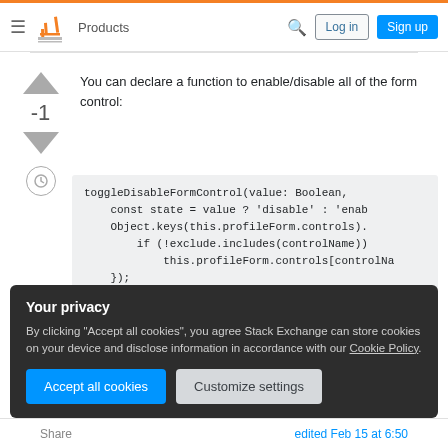Stack Overflow — Products | Log in | Sign up
You can declare a function to enable/disable all of the form control:
[Figure (screenshot): Code block showing toggleDisableFormControl function in TypeScript/JavaScript]
Your privacy
By clicking "Accept all cookies", you agree Stack Exchange can store cookies on your device and disclose information in accordance with our Cookie Policy.
Share | edited Feb 15 at 6:50